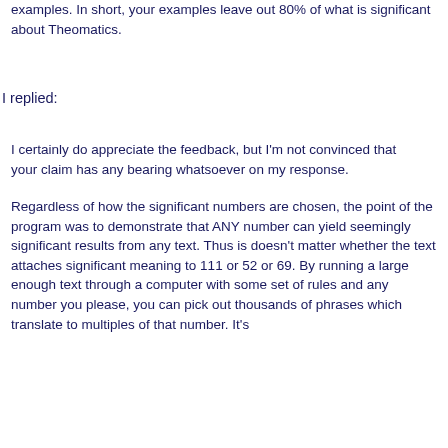examples. In short, your examples leave out 80% of what is significant about Theomatics.
I replied:
I certainly do appreciate the feedback, but I'm not convinced that your claim has any bearing whatsoever on my response.
Regardless of how the significant numbers are chosen, the point of the program was to demonstrate that ANY number can yield seemingly significant results from any text. Thus is doesn't matter whether the text attaches significant meaning to 111 or 52 or 69. By running a large enough text through a computer with some set of rules and any number you please, you can pick out thousands of phrases which translate to multiples of that number. It's